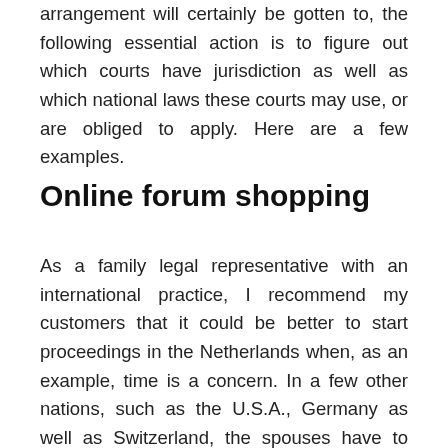arrangement will certainly be gotten to, the following essential action is to figure out which courts have jurisdiction as well as which national laws these courts may use, or are obliged to apply. Here are a few examples.
Online forum shopping
As a family legal representative with an international practice, I recommend my customers that it could be better to start proceedings in the Netherlands when, as an example, time is a concern. In a few other nations, such as the U.S.A., Germany as well as Switzerland, the spouses have to wait one year (after separation), before they can begin